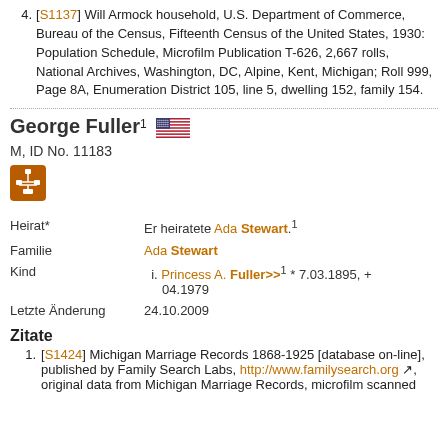4. [S1137] Will Armock household, U.S. Department of Commerce, Bureau of the Census, Fifteenth Census of the United States, 1930: Population Schedule, Microfilm Publication T-626, 2,667 rolls, National Archives, Washington, DC, Alpine, Kent, Michigan; Roll 999, Page 8A, Enumeration District 105, line 5, dwelling 152, family 154.
George Fuller¹ M, ID No. 11183
Heirat* — Er heiratete Ada Stewart.¹
Familie — Ada Stewart
Kind — i. Princess A. Fuller>>¹ * 7.03.1895, + 04.1979
Letzte Änderung — 24.10.2009
Zitate
1. [S1424] Michigan Marriage Records 1868-1925 [database on-line], published by Family Search Labs, http://www.familysearch.org, original data from Michigan Marriage Records, microfilm scanned